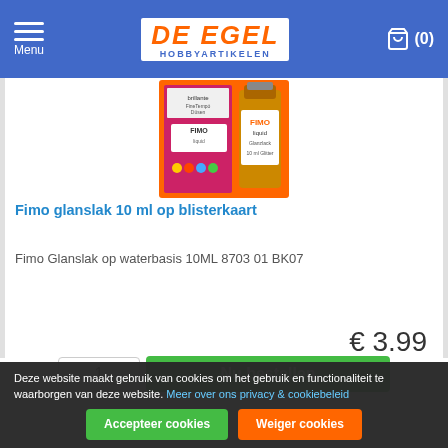Menu | De Egel Hobbyartikelen | Cart (0)
[Figure (photo): Product image of Fimo glanslak 10ml on blister card — orange blister packaging with a bottle of Fimo gloss varnish]
Fimo glanslak 10 ml op blisterkaart
Fimo Glanslak op waterbasis 10ML 8703 01 BK07
€ 3.99
1   Nu bestellen
Deze website maakt gebruik van cookies om het gebruik en functionaliteit te waarborgen van deze website. Meer over ons privacy & cookiebeleid
Accepteer cookies   Weiger cookies